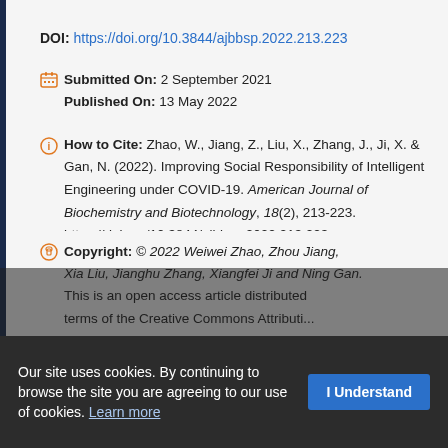DOI: https://doi.org/10.3844/ajbbsp.2022.213.223
Submitted On: 2 September 2021
Published On: 13 May 2022
How to Cite: Zhao, W., Jiang, Z., Liu, X., Zhang, J., Ji, X. & Gan, N. (2022). Improving Social Responsibility of Intelligent Engineering under COVID-19. American Journal of Biochemistry and Biotechnology, 18(2), 213-223. https://doi.org/10.3844/ajbbsp.2022.213.223
Copyright: © 2022 Weiwei Zhao, Zhou Jiang, Xia Liu, Jianghu Zhang, Xiangfei Ji and Ning Gan. This is an open access article distributed under the terms of the Creative Commons Attribution...
Our site uses cookies. By continuing to browse the site you are agreeing to our use of cookies. Learn more